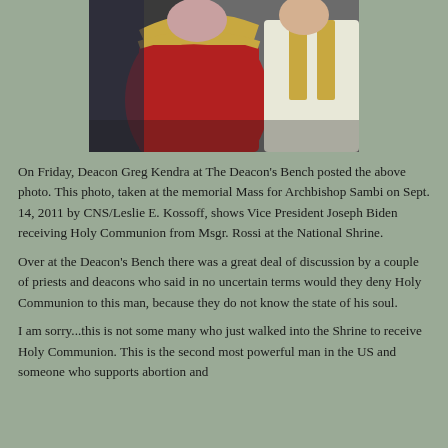[Figure (photo): Photo of a person in red ceremonial vestments with gold trim receiving or giving communion, with another person in white vestments visible on the right]
On Friday, Deacon Greg Kendra at The Deacon's Bench posted the above photo. This photo, taken at the memorial Mass for Archbishop Sambi on Sept. 14, 2011 by CNS/Leslie E. Kossoff, shows Vice President Joseph Biden receiving Holy Communion from Msgr. Rossi at the National Shrine.
Over at the Deacon's Bench there was a great deal of discussion by a couple of priests and deacons who said in no uncertain terms would they deny Holy Communion to this man, because they do not know the state of his soul.
I am sorry...this is not some many who just walked into the Shrine to receive Holy Communion. This is the second most powerful man in the US and someone who supports abortion and